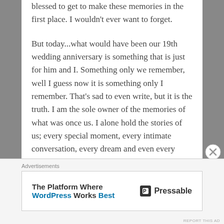blessed to get to make these memories in the first place.  I wouldn't ever want to forget.
But today...what would have been our 19th wedding anniversary is something that is just for him and I.  Something only we remember, well I guess now it is something only I remember.  That's sad to even write, but it is the truth.  I am the sole owner of the memories of what was once us.  I alone hold the stories of us; every special moment, every intimate conversation, every dream and even every regret.  I've got it all inside of me.  And I am thankful for that.  He was mine and I will forever hold him in my heart.  Not just on this day that is ours, but everyday of my life.
Advertisements
[Figure (other): Advertisement banner for Pressable: 'The Platform Where WordPress Works Best' with Pressable logo on the right]